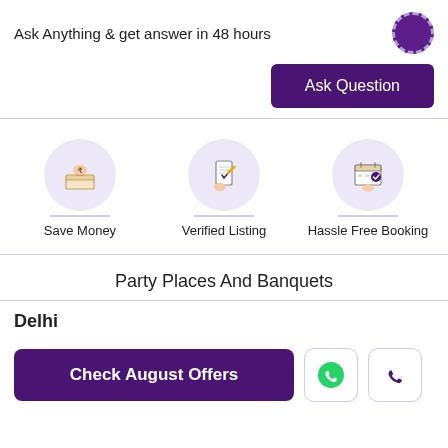Ask Anything & get answer in 48 hours
Ask Question
[Figure (illustration): Three feature icons: Save Money (hand dropping rupee into box), Verified Listing (hand with checklist on phone), Hassle Free Booking (hand pointing at calendar with checkmark)]
Party Places And Banquets
Delhi
Check August Offers